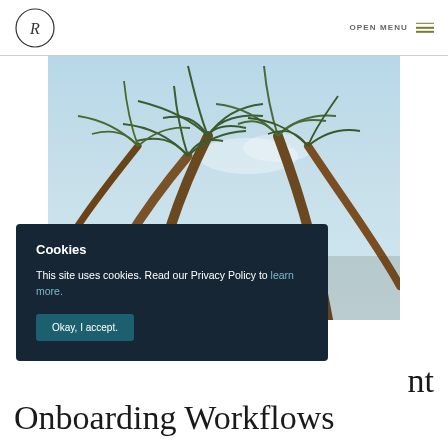OPEN MENU
[Figure (photo): Upward-looking view of palm trees against a light blue sky]
Cookies
This site uses cookies. Read our Privacy Policy to learn more.
Okay, I accept.
nt Onboarding Workflows